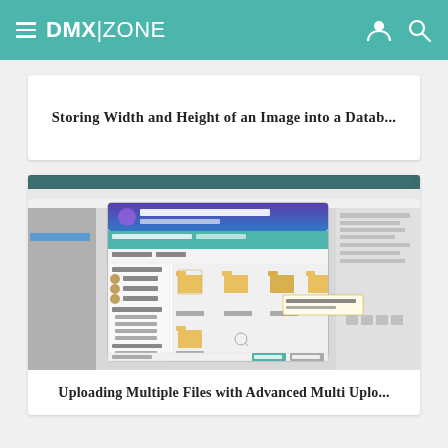DMX|ZONE
Storing Width and Height of an Image into a Datab...
[Figure (screenshot): Screenshot of Dreamweaver IDE with a file browser dialog open showing folder icons, PHP Upload 3 plugin dialog visible in the foreground]
Uploading Multiple Files with Advanced Multi Uplo...